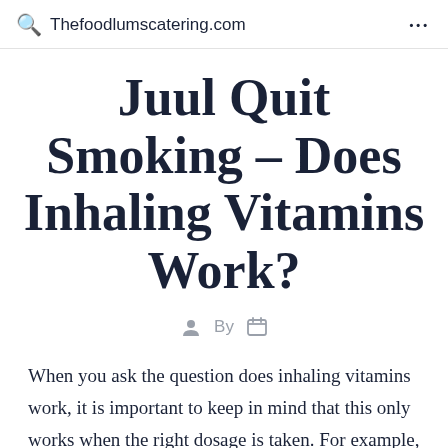Q   Thefoodlumscatering.com   ...
Juul Quit Smoking – Does Inhaling Vitamins Work?
By
When you ask the question does inhaling vitamins work, it is important to keep in mind that this only works when the right dosage is taken. For example,